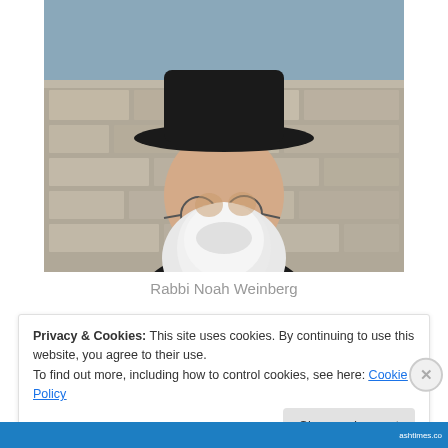[Figure (photo): Portrait photo of an elderly man with a long white beard, wearing a black hat and dark jacket, standing in front of a stone wall background.]
Rabbi Noah Weinberg
Privacy & Cookies: This site uses cookies. By continuing to use this website, you agree to their use.
To find out more, including how to control cookies, see here: Cookie Policy
Close and accept